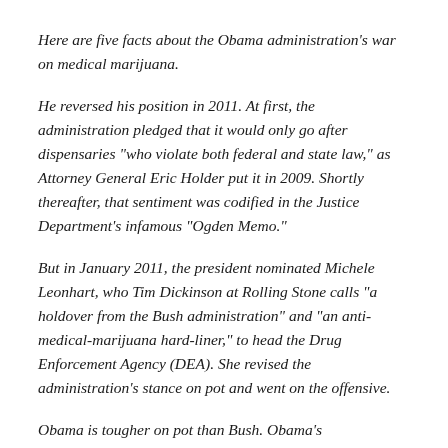Here are five facts about the Obama administration's war on medical marijuana.
He reversed his position in 2011. At first, the administration pledged that it would only go after dispensaries "who violate both federal and state law," as Attorney General Eric Holder put it in 2009. Shortly thereafter, that sentiment was codified in the Justice Department's infamous "Ogden Memo."
But in January 2011, the president nominated Michele Leonhart, who Tim Dickinson at Rolling Stone calls "a holdover from the Bush administration" and "an anti-medical-marijuana hard-liner," to head the Drug Enforcement Agency (DEA). She revised the administration's stance on pot and went on the offensive.
Obama is tougher on pot than Bush. Obama's administration brought 153 medical marijuana cases in its first four years, according to a June 2013 study from the National Organization